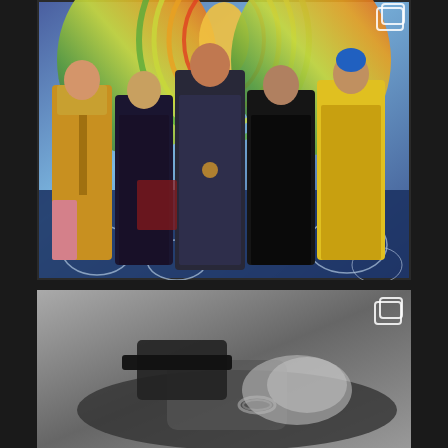[Figure (photo): Five K-pop male artists posed in front of a colorful psychedelic background with swirling mountain-like patterns in green, yellow, orange. The artists wear elaborate fashion: one in a gold/mustard long satin robe, one in dark velvet, one in a dark ornate patterned suit in the center, one in an oversized black jacket, and one in a bright yellow satin shirt. Blue floral patterns visible at the bottom of background. Copy/share icon visible in top right corner.]
[Figure (photo): Black and white photo showing a person lying down, partially visible, wearing dark clothing with jewelry/bracelet. Copy/share icon visible in top right corner.]